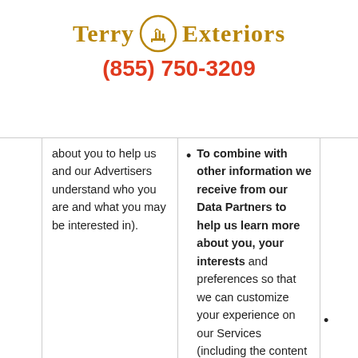Terry Exteriors (855) 750-3209
about you to help us and our Advertisers understand who you are and what you may be interested in).
To combine with other information we receive from our Data Partners to help us learn more about you, your interests and preferences so that we can customize your experience on our Services (including the content and advertisements displayed to you).
To deliver